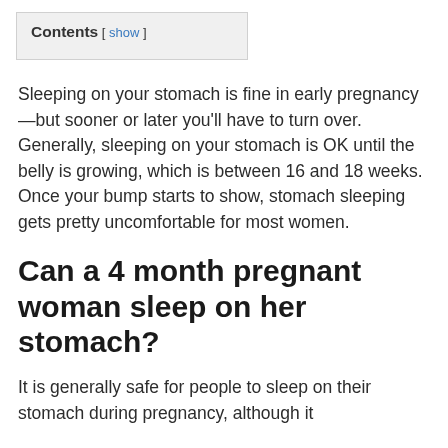Contents [ show ]
Sleeping on your stomach is fine in early pregnancy—but sooner or later you'll have to turn over. Generally, sleeping on your stomach is OK until the belly is growing, which is between 16 and 18 weeks. Once your bump starts to show, stomach sleeping gets pretty uncomfortable for most women.
Can a 4 month pregnant woman sleep on her stomach?
It is generally safe for people to sleep on their stomach during pregnancy, although it